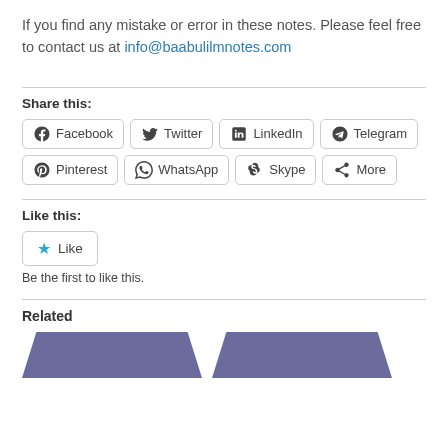If you find any mistake or error in these notes. Please feel free to contact us at info@baabulilmnotes.com
Share this:
Facebook | Twitter | LinkedIn | Telegram | Pinterest | WhatsApp | Skype | More
Like this:
Like
Be the first to like this.
Related